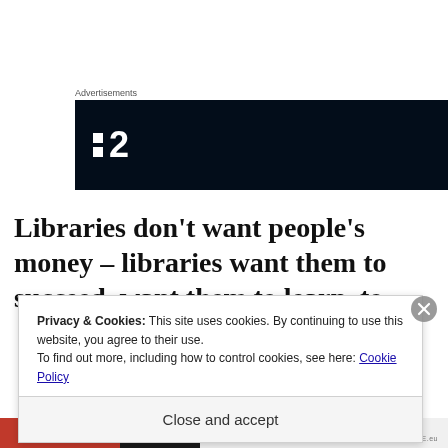Advertisements
[Figure (logo): Dark navy advertisement banner with white logo showing two small squares and the number 2]
Libraries don’t want people’s money – libraries want them to succeed, want them to learn, to
Privacy & Cookies: This site uses cookies. By continuing to use this website, you agree to their use.
To find out more, including how to control cookies, see here: Cookie Policy
Close and accept